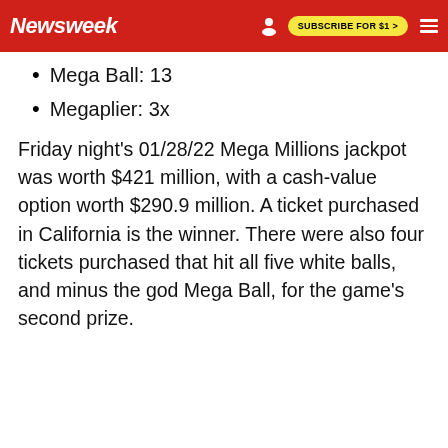Newsweek | SUBSCRIBE FOR $1 >
Mega Ball: 13
Megaplier: 3x
Friday night's 01/28/22 Mega Millions jackpot was worth $421 million, with a cash-value option worth $290.9 million. A ticket purchased in California is the winner. There were also four tickets purchased that hit all five white balls, and minus the god Mega Ball, for the game's second prize.